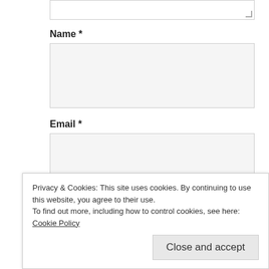Name *
[Figure (other): Empty text input field for Name]
Email *
[Figure (other): Empty text input field for Email]
Website
[Figure (other): Empty text input field for Website]
By using this form you agree with the storage and
Privacy & Cookies: This site uses cookies. By continuing to use this website, you agree to their use.
To find out more, including how to control cookies, see here: Cookie Policy
Close and accept